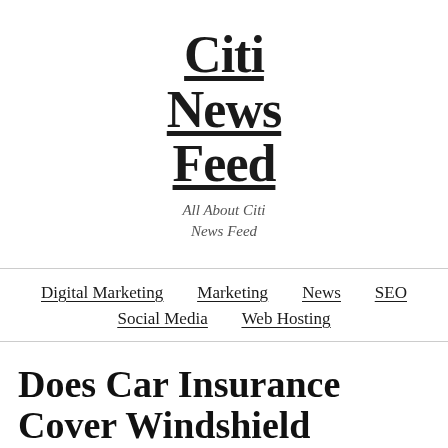Citi News Feed
All About Citi News Feed
Digital Marketing  Marketing  News  SEO  Social Media  Web Hosting
Does Car Insurance Cover Windshield Replacement?